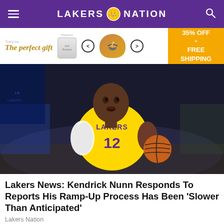LAKERS NATION
[Figure (photo): Advertisement banner: 'The perfect gift' with bowl image, arrows, and 35% OFF + FREE SHIPPING offer]
[Figure (photo): Lakers player #12 Kendrick Nunn in yellow Lakers jersey dribbling a basketball]
Lakers News: Kendrick Nunn Responds To Reports His Ramp-Up Process Has Been 'Slower Than Anticipated'
Lakers Nation